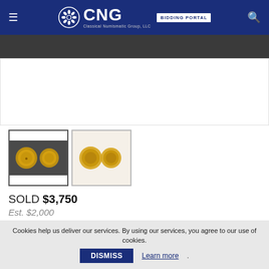CNG Classical Numismatic Group, LLC – BIDDING PORTAL
[Figure (photo): Dark banner strip at top of page, partial coin image area]
[Figure (photo): Thumbnail 1: Two gold Roman coins shown against dark background]
[Figure (photo): Thumbnail 2: Two gold Roman coins shown against light background, obverse and reverse]
SOLD $3,750
Est. $2,000
🔨 LIVE AUCTION
Triton XXV – Session 5
Live bidding began Jan 25, 2022 at 10:00 AM EST
Cookies help us deliver our services. By using our services, you agree to our use of cookies. DISMISS Learn more.